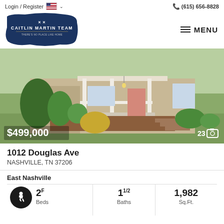Login / Register  🇺🇸 ∨    📞 (615) 656-8828
[Figure (logo): Caitlin Martin Team logo — dark navy background with crossed keys icon and text 'CAITLIN MARTIN TEAM / THERE'S NO PLACE LIKE HOME']
[Figure (photo): Exterior photo of a single-family home with a covered front porch, brick foundation, stairs, and landscaping. Price overlay: $499,000. Photo count: 23.]
1012 Douglas Ave
NASHVILLE, TN 37206
East Nashville
2F  1 1/2
Baths
1,982
Sq.Ft.